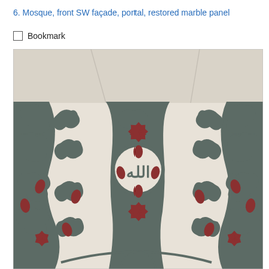6. Mosque, front SW façade, portal, restored marble panel
Bookmark
[Figure (photo): Close-up photograph of a restored marble panel from the SW facade portal of a mosque. The panel features intricate inlaid marble work with a white background, dark grey-green marble geometric and floral motifs, and dark red/maroon decorative pinwheel rosettes. At the center is a circular medallion containing the Arabic word 'Allah' (الله) in calligraphy. The design is symmetrical with cloud-scroll (rumi) forms and floral arabesques radiating outward. The bottom of the image shows partial view of additional architectural elements.]